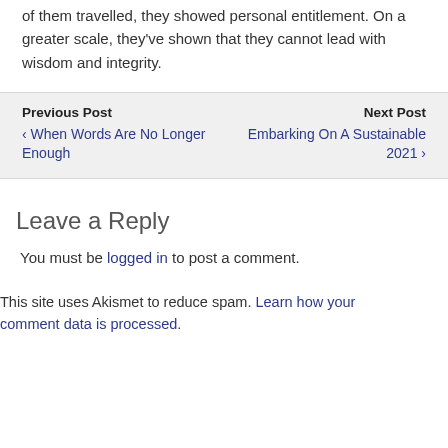of them travelled, they showed personal entitlement. On a greater scale, they've shown that they cannot lead with wisdom and integrity.
Previous Post
‹ When Words Are No Longer Enough
Next Post
Embarking On A Sustainable 2021 ›
Leave a Reply
You must be logged in to post a comment.
This site uses Akismet to reduce spam. Learn how your comment data is processed.